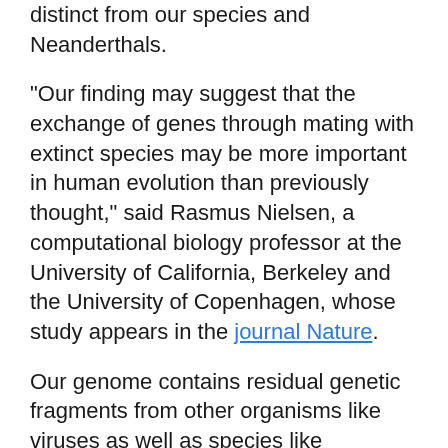71,000-year-old bone indicated Denisovans were distinct from our species and Neanderthals.
"Our finding may suggest that the exchange of genes through mating with extinct species may be more important in human evolution than previously thought," said Rasmus Nielsen, a computational biology professor at the University of California, Berkeley and the University of Copenhagen, whose study appears in the journal Nature.
Our genome contains residual genetic fragments from other organisms like viruses as well as species like Neanderthals with which early modern humans interbred. The researchers called their study the first to show that a gene from an archaic human species has helped modern humans adjust to different living conditions.